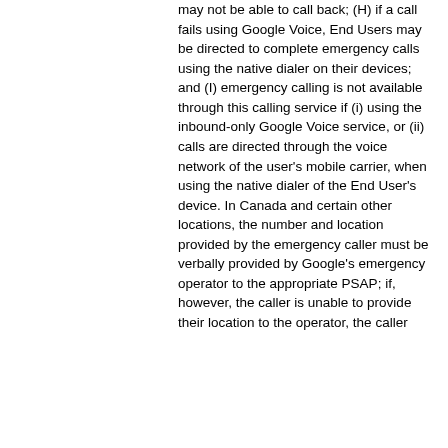may not be able to call back; (H) if a call fails using Google Voice, End Users may be directed to complete emergency calls using the native dialer on their devices; and (I) emergency calling is not available through this calling service if (i) using the inbound-only Google Voice service, or (ii) calls are directed through the voice network of the user's mobile carrier, when using the native dialer of the End User's device. In Canada and certain other locations, the number and location provided by the emergency caller must be verbally provided by Google's emergency operator to the appropriate PSAP; if, however, the caller is unable to provide their location to the operator, the caller